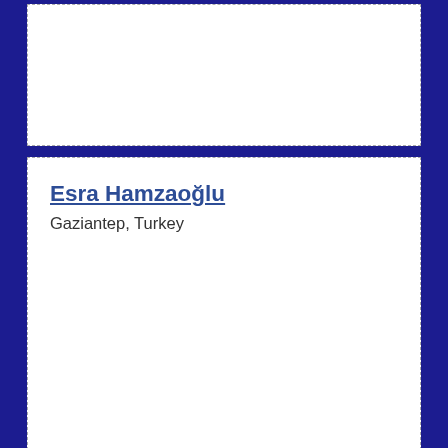(partial card top)
Esra Hamzaoğlu
Gaziantep, Turkey
Mary Marguerite Hannigan
Co. Kildare, Ireland
Mary Hardy
Germany
☎ 0049 7732 8026000